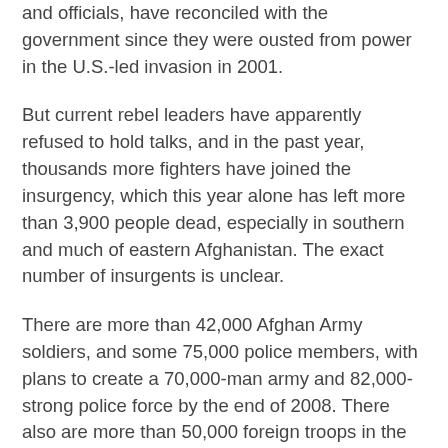and officials, have reconciled with the government since they were ousted from power in the U.S.-led invasion in 2001.
But current rebel leaders have apparently refused to hold talks, and in the past year, thousands more fighters have joined the insurgency, which this year alone has left more than 3,900 people dead, especially in southern and much of eastern Afghanistan. The exact number of insurgents is unclear.
There are more than 42,000 Afghan Army soldiers, and some 75,000 police members, with plans to create a 70,000-man army and 82,000-strong police force by the end of 2008. There also are more than 50,000 foreign troops in the country, including U.S.-led coalition and NATO-led forces.
Formal talks with the Taliban would be politically very sensitive because of the close relationship top commanders are believed to have with al-Qaida leaders, including Osama bin Laden.
In the southern Helmand province, meanwhile, senior Taliban leaders Mullah Abdul Ghani, known as Mullah Baradar...